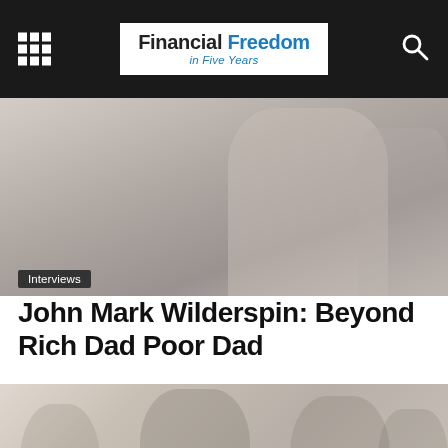Financial Freedom in Five Years
[Figure (photo): Cropped close-up photo of a person in a dark suit, partially visible, with muted/faded tones]
Interviews
John Mark Wilderspin: Beyond Rich Dad Poor Dad
[Figure (photo): Photo of several people seated at what appears to be a panel or event, including a man in a suit and a woman smiling, in muted warm tones]